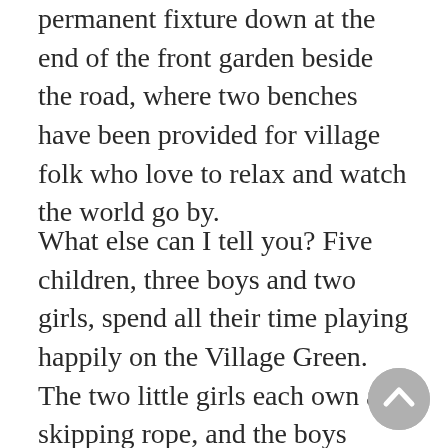permanent fixture down at the end of the front garden beside the road, where two benches have been provided for village folk who love to relax and watch the world go by.
What else can I tell you? Five children, three boys and two girls, spend all their time playing happily on the Village Green. The two little girls each own a skipping rope, and the boys enjoy playing one of those eternal games of football, using the fence of the